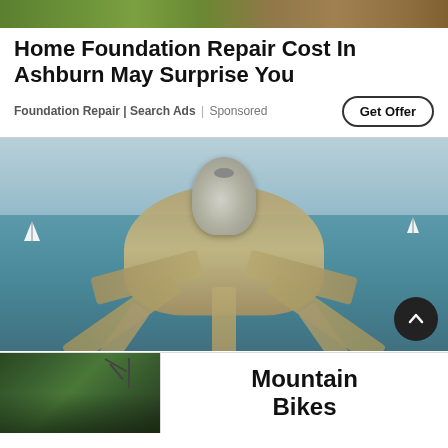[Figure (photo): Top cropped photo showing grass and dirt/soil background]
Home Foundation Repair Cost In Ashburn May Surprise You
Foundation Repair | Search Ads | Sponsored
[Figure (photo): Aerial view of an octopus-shaped island resort with a dome-shaped building in the center and spoke-like land extensions into the sea, with sailboats in the background]
[Figure (photo): Advertisement banner showing mountain biking trail image on left and text 'Mountain Bikes' on right]